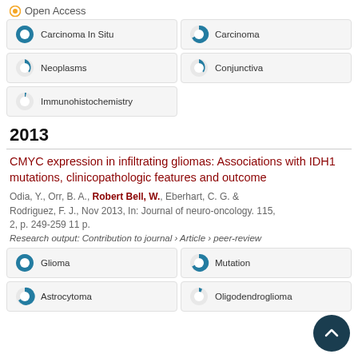[Figure (infographic): Open Access icon with orange circle and text]
Carcinoma In Situ (100% donut)
Carcinoma (~65% donut)
Neoplasms (~22% donut)
Conjunctiva (~22% donut)
Immunohistochemistry (~12% donut)
2013
CMYC expression in infiltrating gliomas: Associations with IDH1 mutations, clinicopathologic features and outcome
Odia, Y., Orr, B. A., Robert Bell, W., Eberhart, C. G. & Rodriguez, F. J., Nov 2013, In: Journal of neuro-oncology. 115, 2, p. 249-259 11 p.
Research output: Contribution to journal › Article › peer-review
Glioma (100% donut)
Mutation (~65% donut)
Astrocytoma (~60% donut)
Oligodendroglioma (~18% donut)